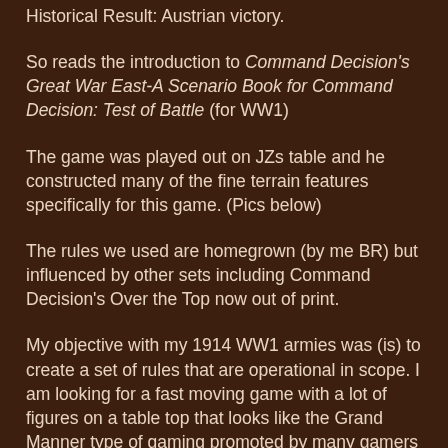Historical Result: Austrian victory.
So reads the introduction to Command Decision's Great War East-A Scenario Book for Command Decision: Test of Battle (for WW1)
The game was played out on JZs table and he constructed many of the fine terrain features specifically for this game. (Pics below)
The rules we used are homegrown (by me BR) but influenced by other sets including Command Decision's Over the Top now out of print.
My objective with my 1914 WW1 armies was (is) to create a set of rules that are operational in scope. I am looking for a fast moving game with a lot of figures on a table top that looks like the Grand Manner type of gaming promoted by many gamers with an eye for detail in regards to the miniatures and gaming table.
My organization is very close to the organizations in Great